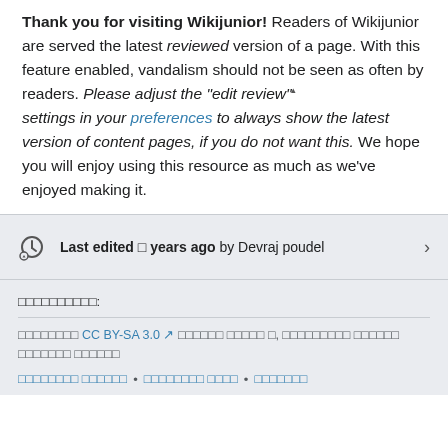Thank you for visiting Wikijunior! Readers of Wikijunior are served the latest reviewed version of a page. With this feature enabled, vandalism should not be seen as often by readers. Please adjust the "edit review" settings in your preferences to always show the latest version of content pages, if you do not want this. We hope you will enjoy using this resource as much as we've enjoyed making it.
Last edited □ years ago by Devraj poudel
□□□□□□□□□□:
□□□□□□□□ CC BY-SA 3.0 □□□□□□ □□□□□ □, □□□□□□□□□ □□□□□□ □□□□□□□ □□□□□□□□□□□□ • □□□□□□□□ □□□□ • □□□□□□□